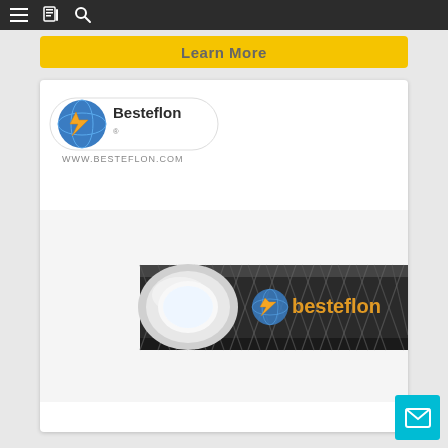Navigation bar with menu, catalog, and search icons
[Figure (other): Yellow 'Learn More' button banner]
[Figure (logo): Besteflon logo with globe/lightning bolt icon and text 'Besteflon' and 'WWW.BESTEFLON.COM']
[Figure (photo): Product photo of a PTFE braided hose/tube with white inner liner visible at the cut end, and black stainless steel wire braid exterior, with Besteflon logo watermark on the hose]
[Figure (other): Cyan/teal chat/email button with envelope icon at bottom right]